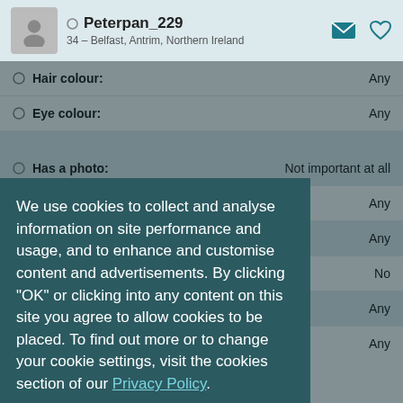Peterpan_229 — 34 – Belfast, Antrim, Northern Ireland
Hair colour: Any
Eye colour: Any
Has a photo: Not important at all
Body type: Any
Star sign: Any
Want children: No
Daily diet: Any
Smoking: Any
We use cookies to collect and analyse information on site performance and usage, and to enhance and customise content and advertisements. By clicking "OK" or clicking into any content on this site you agree to allow cookies to be placed. To find out more or to change your cookie settings, visit the cookies section of our Privacy Policy.
OK